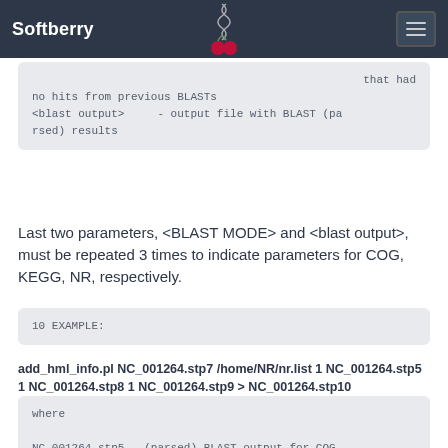Softberry
that had
no hits from previous BLASTs
<blast output>      - output file with BLAST (parsed) results
Last two parameters, <BLAST MODE> and <blast output>, must be repeated 3 times to indicate parameters for COG, KEGG, NR, respectively.
10 EXAMPLE:
add_hml_info.pl NC_001264.stp7 /home/NR/nr.list 1 NC_001264.stp5 1 NC_001264.stp8 1 NC_001264.stp9 > NC_001264.stp10
where

NC_001264.stp5 - (parsed) BLAST output for COG
NC_001264.stp8 - (parsed) BLAST output for KEGG
NC_001264.stp9 - (parsed) BLAST output for NR